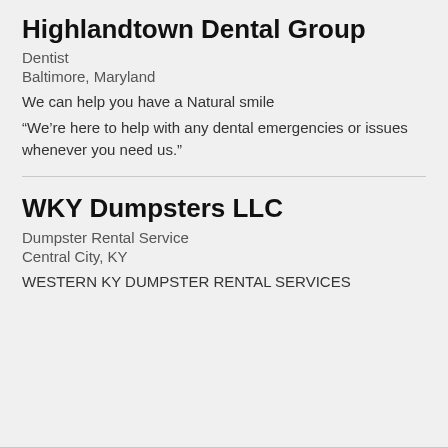Highlandtown Dental Group
Dentist
Baltimore, Maryland
We can help you have a Natural smile
“We’re here to help with any dental emergencies or issues whenever you need us.”
WKY Dumpsters LLC
Dumpster Rental Service
Central City, KY
WESTERN KY DUMPSTER RENTAL SERVICES